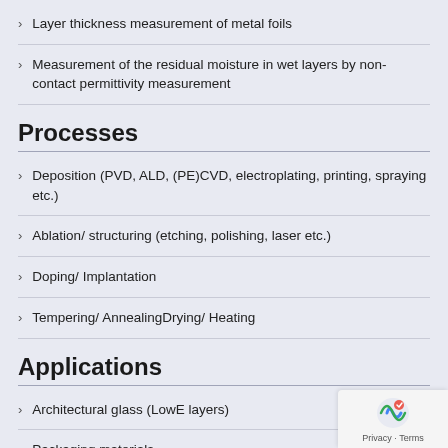Layer thickness measurement of metal foils
Measurement of the residual moisture in wet layers by non-contact permittivity measurement
Processes
Deposition (PVD, ALD, (PE)CVD, electroplating, printing, spraying etc.)
Ablation/ structuring (etching, polishing, laser etc.)
Doping/ Implantation
Tempering/ AnnealingDrying/ Heating
Applications
Architectural glass (LowE layers)
Packaging materials
Displays and touch screens
Photovoltaics